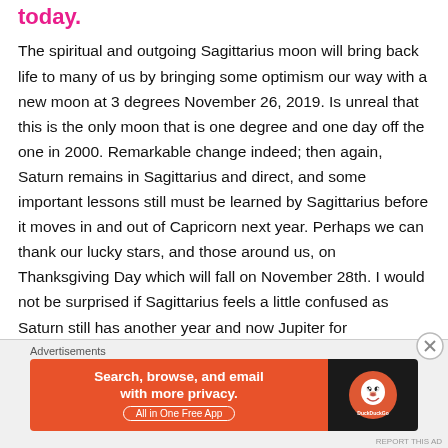today.
The spiritual and outgoing Sagittarius moon will bring back life to many of us by bringing some optimism our way with a new moon at 3 degrees November 26, 2019. Is unreal that this is the only moon that is one degree and one day off the one in 2000. Remarkable change indeed; then again, Saturn remains in Sagittarius and direct, and some important lessons still must be learned by Sagittarius before it moves in and out of Capricorn next year. Perhaps we can thank our lucky stars, and those around us, on Thanksgiving Day which will fall on November 28th. I would not be surprised if Sagittarius feels a little confused as Saturn still has another year and now Jupiter for
[Figure (infographic): DuckDuckGo advertisement banner: orange section with text 'Search, browse, and email with more privacy. All in One Free App' and dark section with DuckDuckGo duck logo.]